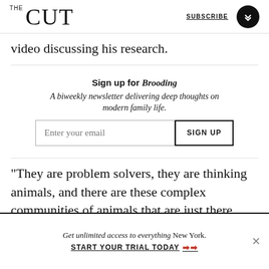THE CUT | SUBSCRIBE
video discussing his research.
Sign up for Brooding
A biweekly newsletter delivering deep thoughts on modern family life.
“They are problem solvers, they are thinking animals, and there are these complex communities of animals that are just there, living just off our coast line, just beneath the waves.”
Get unlimited access to everything New York.
START YOUR TRIAL TODAY ➡➡